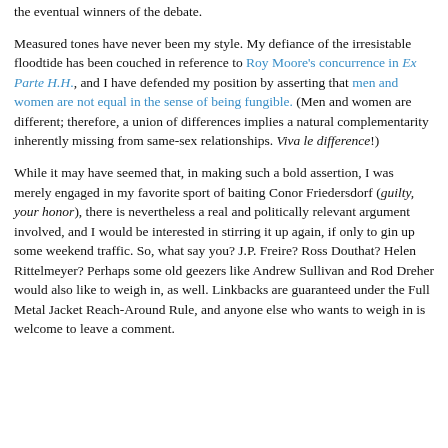the eventual winners of the debate.
Measured tones have never been my style. My defiance of the irresistable floodtide has been couched in reference to Roy Moore's concurrence in Ex Parte H.H., and I have defended my position by asserting that men and women are not equal in the sense of being fungible. (Men and women are different; therefore, a union of differences implies a natural complementarity inherently missing from same-sex relationships. Viva le difference!)
While it may have seemed that, in making such a bold assertion, I was merely engaged in my favorite sport of baiting Conor Friedersdorf (guilty, your honor), there is nevertheless a real and politically relevant argument involved, and I would be interested in stirring it up again, if only to gin up some weekend traffic. So, what say you? J.P. Freire? Ross Douthat? Helen Rittelmeyer? Perhaps some old geezers like Andrew Sullivan and Rod Dreher would also like to weigh in, as well. Linkbacks are guaranteed under the Full Metal Jacket Reach-Around Rule, and anyone else who wants to weigh in is welcome to leave a comment.